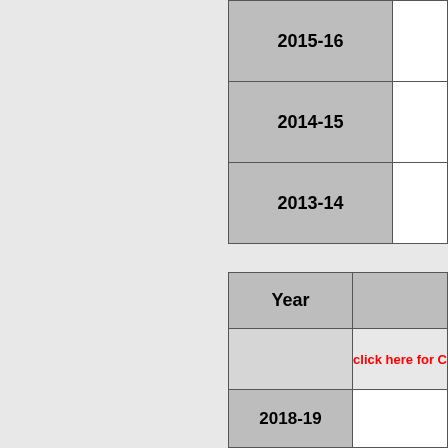| Year |  |
| --- | --- |
| 2015-16 |  |
| 2014-15 |  |
| 2013-14 |  |
| Year |  |
| --- | --- |
|  | click here for C |
| 2018-19 |  |
| 2017-18 |  |
| 2016-17 |  |
| 2015-16 |  |
| 2014-15 |  |
| 2013-14 |  |